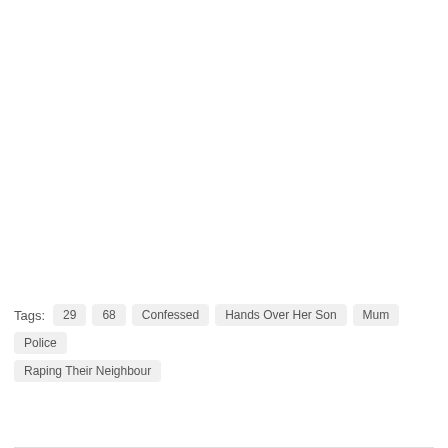Tags: 29  68  Confessed  Hands Over Her Son  Mum  Police  Raping Their Neighbour